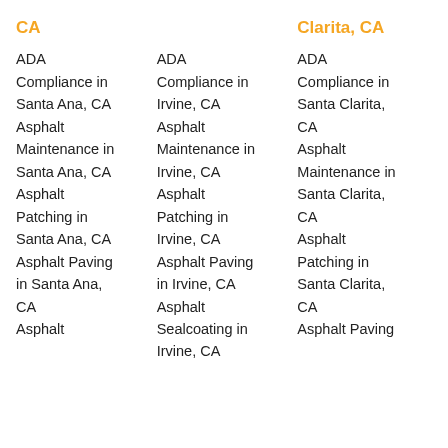CA
ADA Compliance in Santa Ana, CA Asphalt Maintenance in Santa Ana, CA Asphalt Patching in Santa Ana, CA Asphalt Paving in Santa Ana, CA Asphalt
ADA Compliance in Irvine, CA Asphalt Maintenance in Irvine, CA Asphalt Patching in Irvine, CA Asphalt Paving in Irvine, CA Asphalt Sealcoating in Irvine, CA
Clarita, CA
ADA Compliance in Santa Clarita, CA Asphalt Maintenance in Santa Clarita, CA Asphalt Patching in Santa Clarita, CA Asphalt Paving